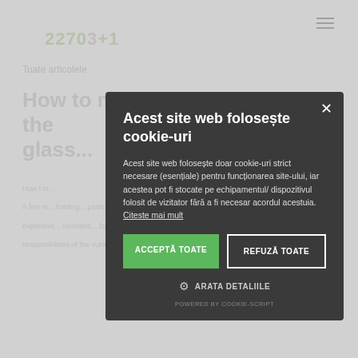22703+1
Toate articolele
How to... (glass...)
How I cr...

A few m... funding... particular... funds) b... false re... expensive... incentive... failures... responsibilities of the vulnerable groups are miss...
Acest site web folosește cookie-uri

Acest site web folosește doar cookie-uri strict necesare (esențiale) pentru funcționarea site-ului, iar acestea pot fi stocate pe echipamentul/dispozitivul folosit de vizitator fără a fi necesar acordul acestuia. Citeste mai mult

ACCEPTĂ TOATE | REFUZĂ TOATE

ARATA DETALIILE

POWERED BY COOKIE-SCRIPT